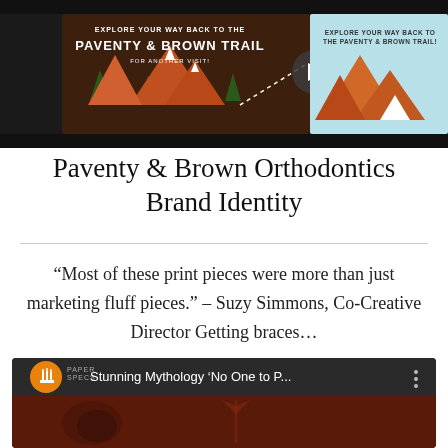[Figure (screenshot): Top banner image showing Paventy & Brown Trail themed marketing card — dark brown card with orange mountains, trees, and text 'EXPLORE YOUR WAY BACK TO THE PAVENTY & BROWN TRAIL FOR ANOTHER VISIT!', overlaid with a video play button, and a second card visible on the right with a light blue sky background and orange mountain illustrations.]
Paventy & Brown Orthodontics Brand Identity
“Most of these print pieces were more than just marketing fluff pieces.” – Suzy Simmons, Co-Creative Director Getting braces…
[Figure (screenshot): YouTube video thumbnail for 'Stunning Mythology ‘No One to P…' showing a dark red/brown decorative panel with PaperSpecs logo (orange circle with white candle icon) and video title text, with three-dot menu icon on the right. Bottom portion shows a dark reddish-brown textured background with partially visible design elements.]